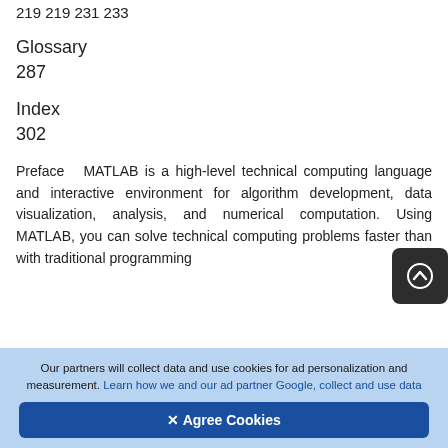219 219 231 233
Glossary
287
Index
302
Preface MATLAB is a high-level technical computing language and interactive environment for algorithm development, data visualization, analysis, and numerical computation. Using MATLAB, you can solve technical computing problems faster than with traditional programming